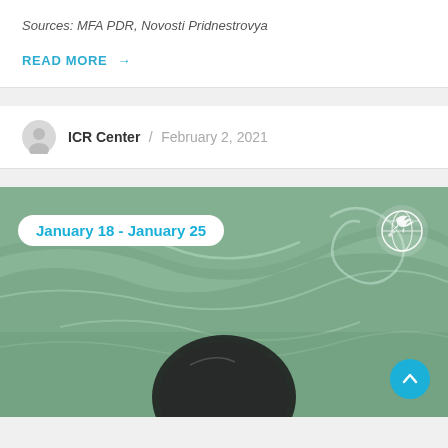Sources: MFA PDR, Novosti Pridnestrovya
READ MORE →
ICR Center / February 2, 2021
[Figure (photo): Aerial or underwater photo showing green swirling water with a dark circular object in the center, overlaid with the text badge 'January 18 - January 25' and a white dove/globe logo in top right, with a cyan scroll-to-top button in bottom right.]